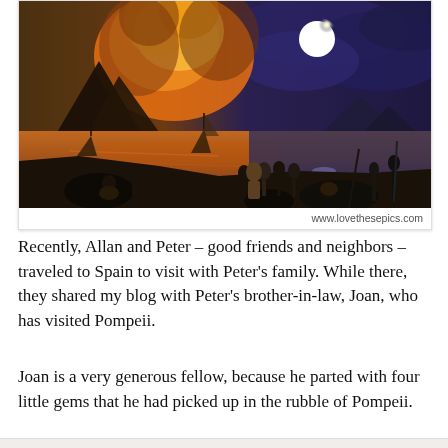[Figure (illustration): Classical painting depicting the eruption of Mount Vesuvius at night. Orange and yellow flames and smoke billow from the volcano on the left. A full moon illuminates dark blue-purple clouds on the right. In the foreground, people and boats are near the shore of the bay, fleeing the disaster.]
www.lovethesepics.com
Recently, Allan and Peter – good friends and neighbors – traveled to Spain to visit with Peter's family. While there, they shared my blog with Peter's brother-in-law, Joan, who has visited Pompeii.
Joan is a very generous fellow, because he parted with four little gems that he had picked up in the rubble of Pompeii.